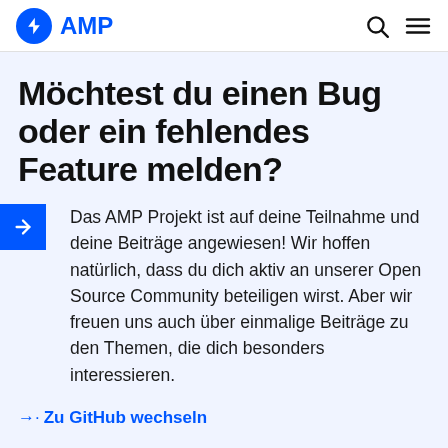AMP
Möchtest du einen Bug oder ein fehlendes Feature melden?
Das AMP Projekt ist auf deine Teilnahme und deine Beiträge angewiesen! Wir hoffen natürlich, dass du dich aktiv an unserer Open Source Community beteiligen wirst. Aber wir freuen uns auch über einmalige Beiträge zu den Themen, die dich besonders interessieren.
→· Zu GitHub wechseln